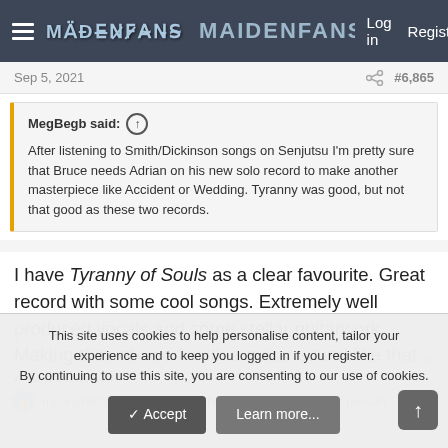MaidenFans — Log in | Register
Sep 5, 2021  #6,865
MegBegb said: After listening to Smith/Dickinson songs on Senjutsu I'm pretty sure that Bruce needs Adrian on his new solo record to make another masterpiece like Accident or Wedding. Tyranny was good, but not that good as these two records.
I have Tyranny of Souls as a clear favourite. Great record with some cool songs. Extremely well produced vocals and some stellar guitarwork. Making that mix work with a guitar sound like that... Cooooooool!
moonchild89, ChoonyFish, TheTalisman and 1 other person
This site uses cookies to help personalise content, tailor your experience and to keep you logged in if you register. By continuing to use this site, you are consenting to our use of cookies.